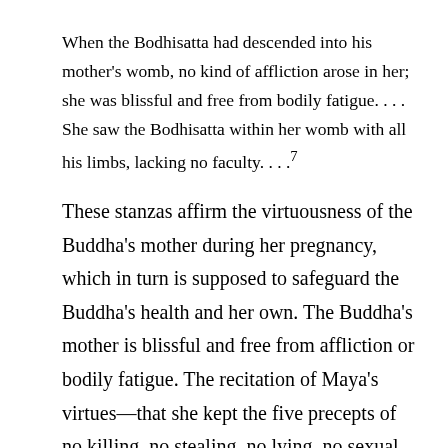When the Bodhisatta had descended into his mother's womb, no kind of affliction arose in her; she was blissful and free from bodily fatigue. . . . She saw the Bodhisatta within her womb with all his limbs, lacking no faculty. . . .⁷
These stanzas affirm the virtuousness of the Buddha's mother during her pregnancy, which in turn is supposed to safeguard the Buddha's health and her own. The Buddha's mother is blissful and free from affliction or bodily fatigue. The recitation of Maya's virtues—that she kept the five precepts of no killing, no stealing, no lying, no sexual misconduct, and no intoxicants —could be read as a rhetorical attempt to ward